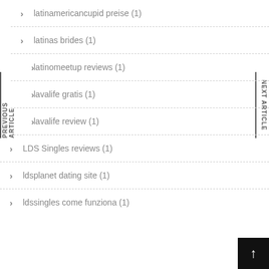latinamericancupid preise (1)
latinas brides (1)
latinomeetup reviews (1)
lavalife gratis (1)
lavalife review (1)
LDS Singles reviews (1)
ldsplanet dating site (1)
ldssingles come funziona (1)